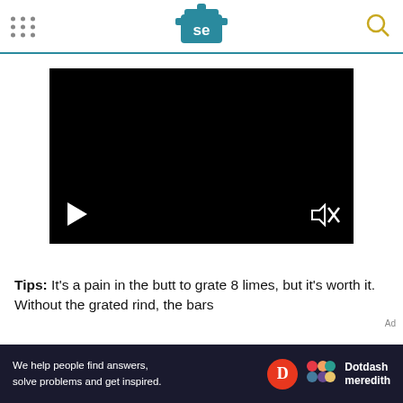[Figure (logo): Serious Eats logo - teal pot icon with 'se' text]
[Figure (screenshot): Black video player with play button and mute icon]
Tips: It's a pain in the butt to grate 8 limes, but it's worth it. Without the grated rind, the bars
[Figure (infographic): Dotdash Meredith ad banner: 'We help people find answers, solve problems and get inspired.']